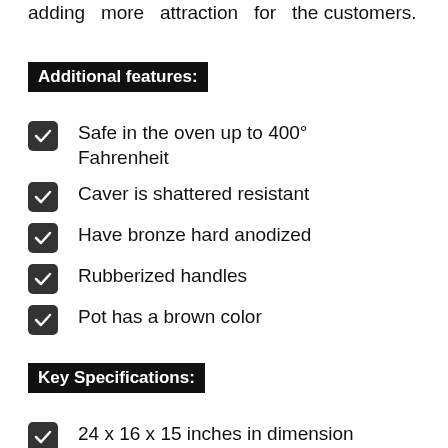adding more attraction for the customers.
Additional features:
Safe in the oven up to 400° Fahrenheit
Caver is shattered resistant
Have bronze hard anodized
Rubberized handles
Pot has a brown color
Key Specifications:
24 x 16 x 15 inches in dimension
6 kg in weight